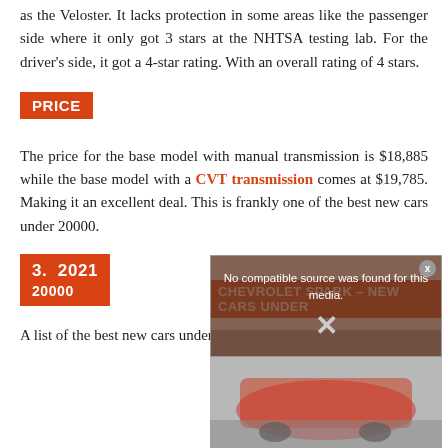as the Veloster. It lacks protection in some areas like the passenger side where it only got 3 stars at the NHTSA testing lab. For the driver's side, it got a 4-star rating. With an overall rating of 4 stars.
PRICE
The price for the base model with manual transmission is $18,885 while the base model with a CVT transmission comes at $19,785. Making it an excellent deal. This is frankly one of the best new cars under 20000.
3.  2021 CHEVROLET SPARK – NEW CARS UNDER 20000
A list of the best new cars under 20000 would not be